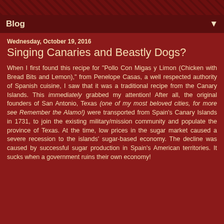Blog
Wednesday, October 19, 2016
Singing Canaries and Beastly Dogs?
When I first found this recipe for "Pollo Con Migas y Limon (Chicken with Bread Bits and Lemon)," from Penelope Casas, a well respected authority of Spanish cuisine, I saw that it was a traditional recipe from the Canary Islands. This immediately grabbed my attention! After all, the original founders of San Antonio, Texas (one of my most beloved cities, for more see Remember the Alamo!) were transported from Spain's Canary Islands in 1731, to join the existing military/mission community and populate the province of Texas. At the time, low prices in the sugar market caused a severe recession to the islands' sugar-based economy. The decline was caused by successful sugar production in Spain's American territories. It sucks when a government ruins their own economy!